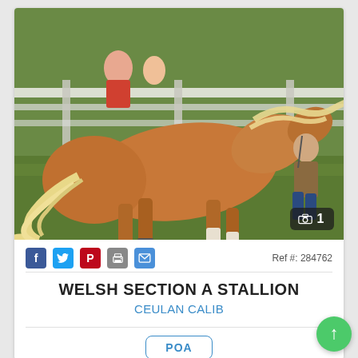[Figure (photo): A chestnut Welsh pony stallion with a long flaxen mane and tail, galloping on grass next to a handler, with white fencing in the background.]
📷 1
Ref #: 284762
WELSH SECTION A STALLION
CEULAN CALIB
POA